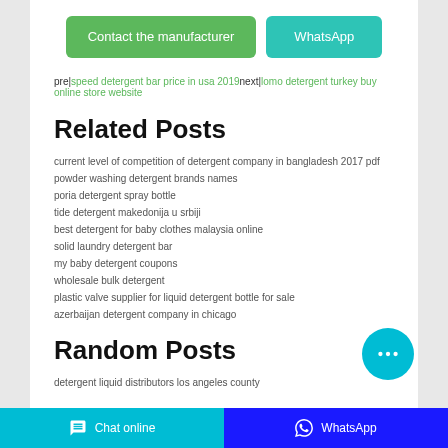Contact the manufacturer | WhatsApp
prev|speed detergent bar price in usa 2019next|lomo detergent turkey buy online store website
Related Posts
current level of competition of detergent company in bangladesh 2017 pdf
powder washing detergent brands names
poria detergent spray bottle
tide detergent makedonija u srbiji
best detergent for baby clothes malaysia online
solid laundry detergent bar
my baby detergent coupons
wholesale bulk detergent
plastic valve supplier for liquid detergent bottle for sale
azerbaijan detergent company in chicago
Random Posts
detergent liquid distributors los angeles county
Chat online | WhatsApp